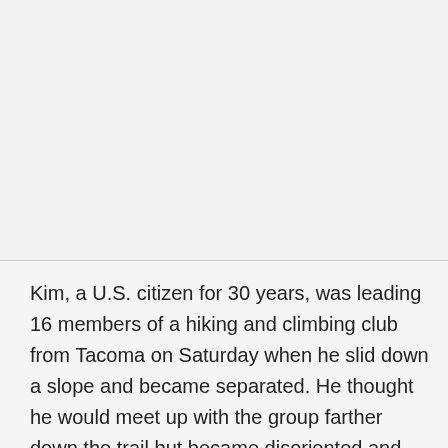[Figure (photo): Photograph or image area (content not visible — appears as light gray background)]
Kim, a U.S. citizen for 30 years, was leading 16 members of a hiking and climbing club from Tacoma on Saturday when he slid down a slope and became separated. He thought he would meet up with the group farther down the trail but became disoriented and went the wrong way.